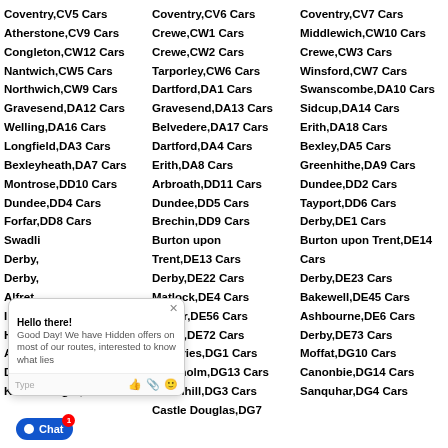Coventry,CV5 Cars
Atherstone,CV9 Cars
Congleton,CW12 Cars
Nantwich,CW5 Cars
Northwich,CW9 Cars
Gravesend,DA12 Cars
Welling,DA16 Cars
Longfield,DA3 Cars
Bexleyheath,DA7 Cars
Montrose,DD10 Cars
Dundee,DD4 Cars
Forfar,DD8 Cars
Swadlincote,DE10 Cars
Derby,DE21 Cars
Derby,DE3 Cars
Alfreton,DE55 Cars
Ilkeston,DE7 Cars
Heanor,DE75 Cars
Annan,DG12 Cars
Dumfries,DG2 Cars
Kirkcudbright,DG6
Coventry,CV6 Cars
Crewe,CW1 Cars
Crewe,CW2 Cars
Tarporley,CW6 Cars
Dartford,DA1 Cars
Gravesend,DA13 Cars
Belvedere,DA17 Cars
Dartford,DA4 Cars
Erith,DA8 Cars
Arbroath,DD11 Cars
Dundee,DD5 Cars
Brechin,DD9 Cars
Burton upon Trent,DE13 Cars
Derby,DE22 Cars
Matlock,DE4 Cars
Belper,DE56 Cars
Derby,DE72 Cars
Dumfries,DG1 Cars
Langholm,DG13 Cars
Thornhill,DG3 Cars
Castle Douglas,DG7
Coventry,CV7 Cars
Middlewich,CW10 Cars
Crewe,CW3 Cars
Winsford,CW7 Cars
Swanscombe,DA10 Cars
Sidcup,DA14 Cars
Erith,DA18 Cars
Bexley,DA5 Cars
Greenhithe,DA9 Cars
Dundee,DD2 Cars
Tayport,DD6 Cars
Derby,DE1 Cars
Burton upon Trent,DE14 Cars
Derby,DE23 Cars
Bakewell,DE45 Cars
Ashbourne,DE6 Cars
Derby,DE73 Cars
Moffat,DG10 Cars
Canonbie,DG14 Cars
Sanquhar,DG4 Cars